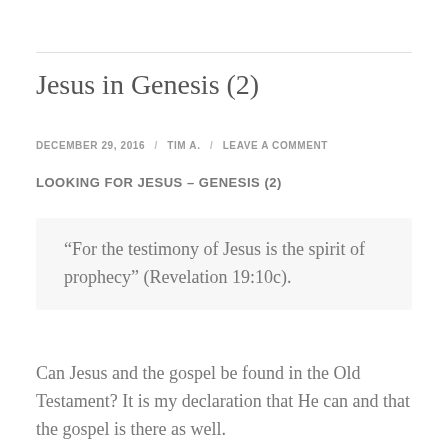Jesus in Genesis (2)
DECEMBER 29, 2016  /  TIM A.  /  LEAVE A COMMENT
LOOKING FOR JESUS – GENESIS (2)
“For the testimony of Jesus is the spirit of prophecy” (Revelation 19:10c).
Can Jesus and the gospel be found in the Old Testament? It is my declaration that He can and that the gospel is there as well.